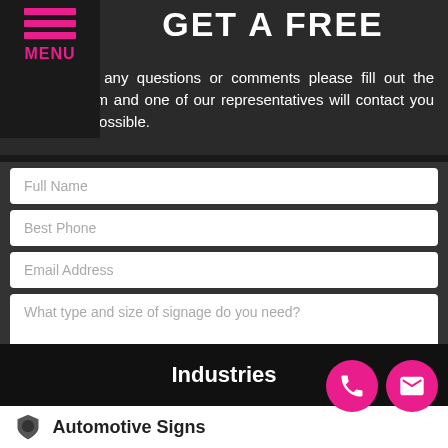MENU (hamburger navigation)
GET A FREE QUOTE
If you have any questions or comments please fill out the following form and one of our representatives will contact you as soon as possible.
Full Name
Best Phone
Email Address
What type and size of signage do you need?
REQUEST MY QUOTE ☞
Industries
Automotive Signs